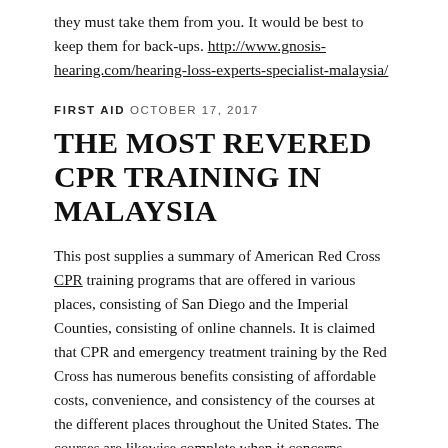they must take them from you. It would be best to keep them for back-ups. http://www.gnosis-hearing.com/hearing-loss-experts-specialist-malaysia/
FIRST AID  OCTOBER 17, 2017
THE MOST REVERED CPR TRAINING IN MALAYSIA
This post supplies a summary of American Red Cross CPR training programs that are offered in various places, consisting of San Diego and the Imperial Counties, consisting of online channels. It is claimed that CPR and emergency treatment training by the Red Cross has numerous benefits consisting of affordable costs, convenience, and consistency of the courses at the different places throughout the United States. The courses are likewise complete when it concerns emergency readiness due to the fact that they do not only consist of cardiopulmonary resuscitation (CPR)